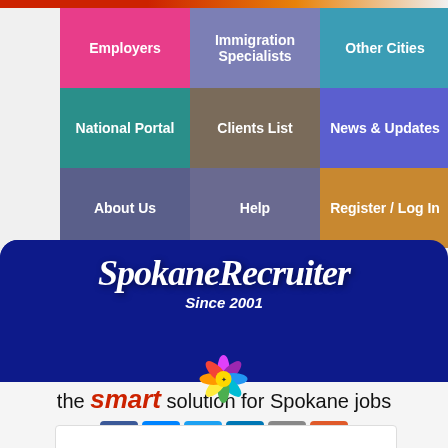[Figure (screenshot): Website navigation grid with colored tiles: Employers (pink), Immigration Specialists (purple), Other Cities (teal), National Portal (teal-dark), Clients List (brown), News & Updates (blue-purple), About Us (slate), Help (slate), Register / Log In (gold)]
SpokaneRecruiter
Since 2001
[Figure (logo): Colorful flower/starburst logo with people figures in multiple colors]
the smart solution for Spokane jobs
[Figure (infographic): Social sharing buttons: Facebook, Messenger, Twitter, LinkedIn, Email, Plus]